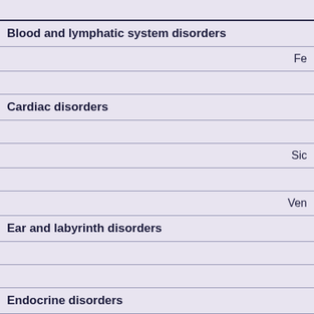| System Organ Class / Preferred Term | Frequency |
| --- | --- |
| Blood and lymphatic system disorders |  |
|  | Fe |
|  |  |
| Cardiac disorders |  |
|  |  |
|  | Sic |
|  |  |
|  | Ven |
| Ear and labyrinth disorders |  |
|  |  |
|  |  |
| Endocrine disorders |  |